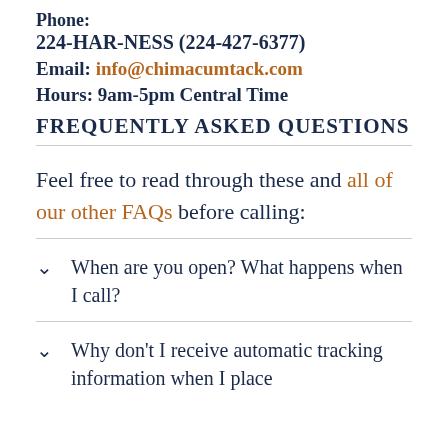Phone:
224-HAR-NESS (224-427-6377)
Email: info@chimacumtack.com
Hours: 9am-5pm Central Time
FREQUENTLY ASKED QUESTIONS
Feel free to read through these and all of our other FAQs before calling:
When are you open? What happens when I call?
Why don't I receive automatic tracking information when I place